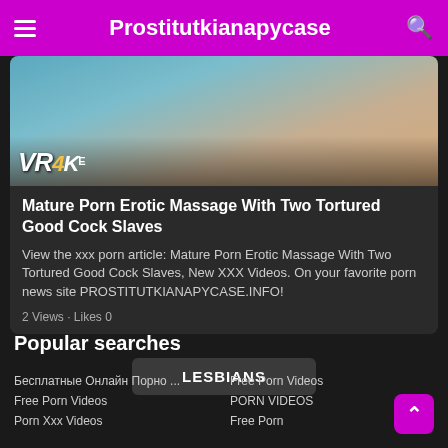Prostitutkianapycase
[Figure (photo): Thumbnail image for adult video article with VR4K logo overlay]
Mature Porn Erotic Massage With Two Tortured Good Cock Slaves
View the xxx porn article: Mature Porn Erotic Massage With Two Tortured Good Cock Slaves, New XXX Videos. On your favorite porn news site PROSTITUTKIANAPYCASE.INFO!
2 Views · Likes 0
Popular searches
LESBIANS
Бесплатные Онлайн Порно ...
Free Porn Videos
Porn Xxx Videos
Free Porn Videos
PORN VIDEOS
Free Porn